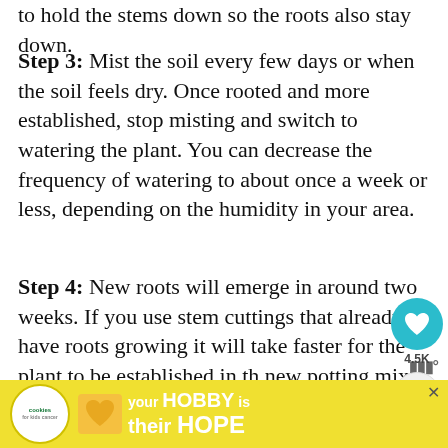to hold the stems down so the roots also stay down.
Step 3: Mist the soil every few days or when the soil feels dry. Once rooted and more established, stop misting and switch to watering the plant. You can decrease the frequency of watering to about once a week or less, depending on the humidity in your area.
Step 4: New roots will emerge in around two weeks. If you use stem cuttings that already have roots growing it will take faster for the plant to be established in the new potting mix.
Step 5: Keep away from direct sunlight to prevent sunburn.
[Figure (screenshot): UI overlay with heart/save button showing 4.5K saves and a share button]
[Figure (screenshot): What's Next panel: thumbnail of plant and text '7 Tips To Keep String of...']
[Figure (screenshot): Advertisement banner: cookies for kids cancer - your HOBBY is their HOPE]